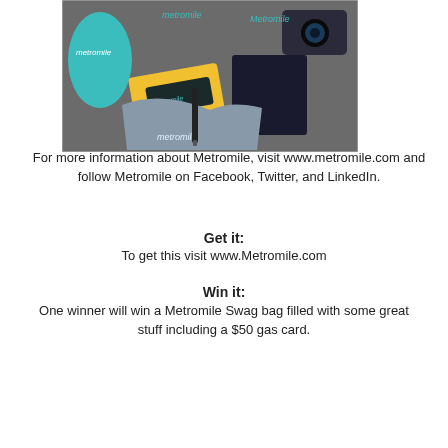[Figure (photo): Metromile branded swag bag contents including a teal water bottle, notebook, pen, t-shirt, card, and other branded items arranged on a dark surface.]
For more information about Metromile, visit www.metromile.com and follow Metromile on Facebook, Twitter, and LinkedIn.
Get it:
To get this visit www.Metromile.com
Win it:
One winner will win a Metromile Swag bag filled with some great stuff including a $50 gas card.
| IT'S OVER! | 6 2 1 9 | 0/35 |
| --- | --- | --- |
|  |  |  |